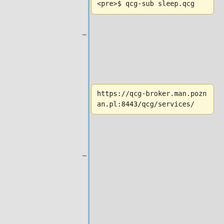<pre>$ qcg-sub sleep.qcg
https://qcg-broker.man.poznan.pl:8443/qcg/services/
/C=PL/O=GRID/O=PSNC/CN=qcg-broker/qcg-broker.man.poznan.pl
Your identity: C=PL,O=GRID,O=PSNC,CN=Bartosz Bosak